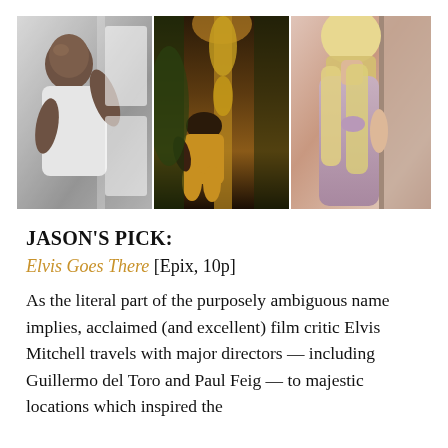[Figure (photo): Three side-by-side photos: left shows a muscular bald man leaning against a door in a white t-shirt; center shows a woman in yellow sitting with golden decorations in a dimly lit scene; right shows a blonde woman viewed from behind in a sleeveless lavender outfit.]
JASON'S PICK:
Elvis Goes There [Epix, 10p]
As the literal part of the purposely ambiguous name implies, acclaimed (and excellent) film critic Elvis Mitchell travels with major directors — including Guillermo del Toro and Paul Feig — to majestic locations which inspired the